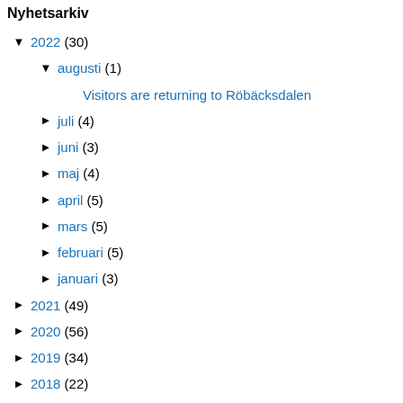Nyhetsarkiv
▼ 2022 (30)
▼ augusti (1)
Visitors are returning to Röbäcksdalen
► juli (4)
► juni (3)
► maj (4)
► april (5)
► mars (5)
► februari (5)
► januari (3)
► 2021 (49)
► 2020 (56)
► 2019 (34)
► 2018 (22)
► 2017 (26)